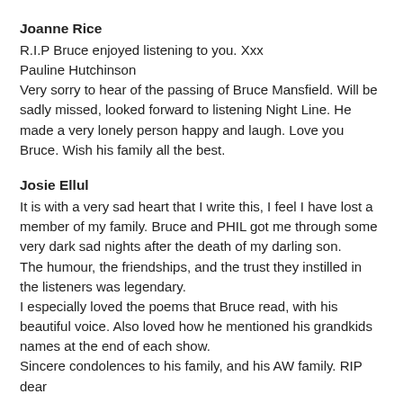Joanne Rice
R.I.P Bruce enjoyed listening to you. Xxx
Pauline Hutchinson
Very sorry to hear of the passing of Bruce Mansfield. Will be sadly missed, looked forward to listening Night Line. He made a very lonely person happy and laugh. Love you Bruce. Wish his family all the best.
Josie Ellul
It is with a very sad heart that I write this, I feel I have lost a member of my family. Bruce and PHIL got me through some very dark sad nights after the death of my darling son. The humour, the friendships, and the trust they instilled in the listeners was legendary.
I especially loved the poems that Bruce read, with his beautiful voice. Also loved how he mentioned his grandkids names at the end of each show.
Sincere condolences to his family, and his AW family. RIP dear